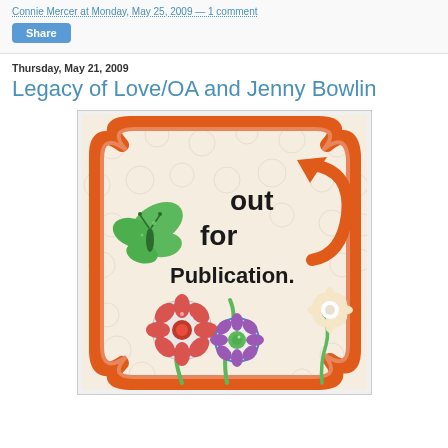Connie Mercer at Monday, May 25, 2009 — 1 comment
Share
Thursday, May 21, 2009
Legacy of Love/OA and Jenny Bowlin
[Figure (photo): A decorative craft/scrapbook image with an orange ornate frame on a light background with circle patterns. Inside the frame text reads 'out for Publication.' with a green butterfly on the left and flowers at the bottom. An orange arrow points to the text. Small flower embellishments are also visible.]